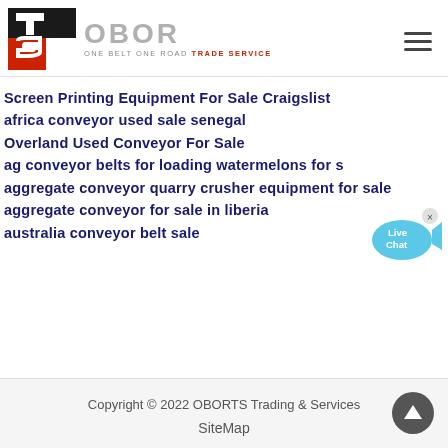[Figure (logo): OBOR TS logo with red and black T/S icon and grey OBOR text, tagline ONE BELT ONE ROAD TRADE SERVICE]
Screen Printing Equipment For Sale Craigslist
africa conveyor used sale senegal
Overland Used Conveyor For Sale
ag conveyor belts for loading watermelons for s
aggregate conveyor quarry crusher equipment for sale
aggregate conveyor for sale in liberia
australia conveyor belt sale
Copyright © 2022 OBORTS Trading & Services
SiteMap